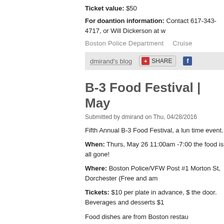Ticket value: $50
For doantion information: Contact 617-343-4717, or Will Dickerson at w
Boston Police Department   Cruise
dmirand's blog   SHARE
B-3 Food Festival | May
Submitted by dmirand on Thu, 04/28/2016
Fifth Annual B-3 Food Festival, a lun time event.
When: Thurs, May 26 11:00am -7:00 the food is all gone!
Where: Boston Police/VFW Post #1 Morton St, Dorchester (Free and am
Tickets: $10 per plate in advance, $ the door. Beverages and desserts $1
Food dishes are from Boston restau enforcement officers.
All day raffle with winners drawn at t event. Proceeds to benefit B-3 Com